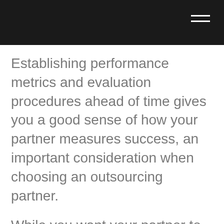Establishing performance metrics and evaluation procedures ahead of time gives you a good sense of how your partner measures success, an important consideration when choosing an outsourcing partner.
While you want your partner to have proven methods and procedures for measuring KPIs, they should also take time to understand what metrics are most important for you.